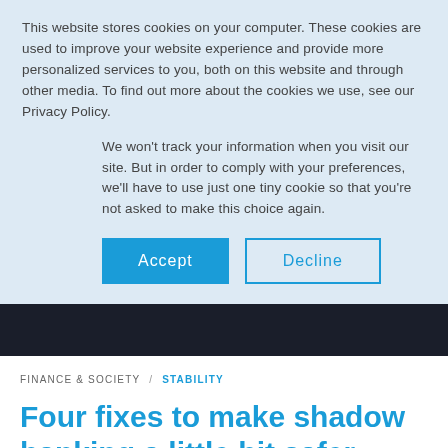This website stores cookies on your computer. These cookies are used to improve your website experience and provide more personalized services to you, both on this website and through other media. To find out more about the cookies we use, see our Privacy Policy.
We won't track your information when you visit our site. But in order to comply with your preferences, we'll have to use just one tiny cookie so that you're not asked to make this choice again.
Accept
Decline
[Figure (screenshot): Dark navigation bar strip]
FINANCE & SOCIETY / STABILITY
Four fixes to make shadow banking a little bit safer